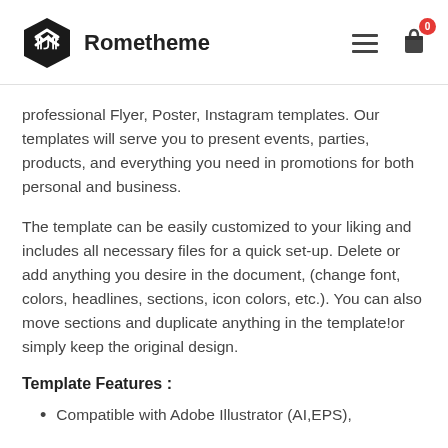[Figure (logo): Rometheme logo with black hexagon icon and bold text 'Rometheme', plus hamburger menu icon and cart icon with red badge showing 0]
professional Flyer, Poster, Instagram templates. Our templates will serve you to present events, parties, products, and everything you need in promotions for both personal and business.
The template can be easily customized to your liking and includes all necessary files for a quick set-up. Delete or add anything you desire in the document, (change font, colors, headlines, sections, icon colors, etc.). You can also move sections and duplicate anything in the template!or simply keep the original design.
Template Features :
Compatible with Adobe Illustrator (AI,EPS),